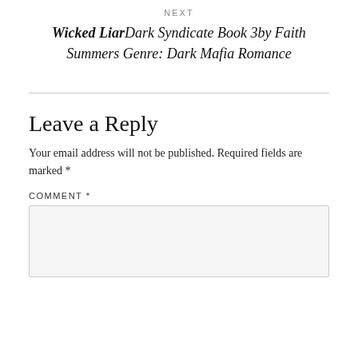NEXT
Wicked LiarDark Syndicate Book 3by Faith Summers Genre: Dark Mafia Romance
Your email address will not be published. Required fields are marked *
Leave a Reply
COMMENT *